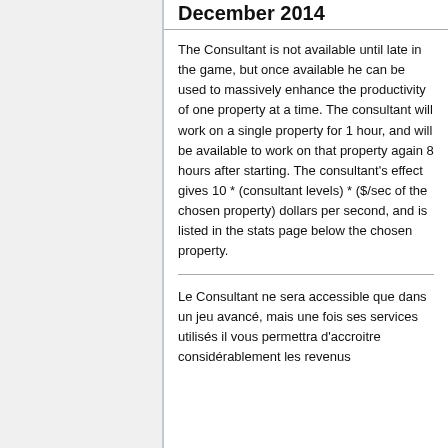December 2014
The Consultant is not available until late in the game, but once available he can be used to massively enhance the productivity of one property at a time. The consultant will work on a single property for 1 hour, and will be available to work on that property again 8 hours after starting. The consultant's effect gives 10 * (consultant levels) * ($/sec of the chosen property) dollars per second, and is listed in the stats page below the chosen property.
Le Consultant ne sera accessible que dans un jeu avancé, mais une fois ses services utilisés il vous permettra d'accroitre considérablement les revenus